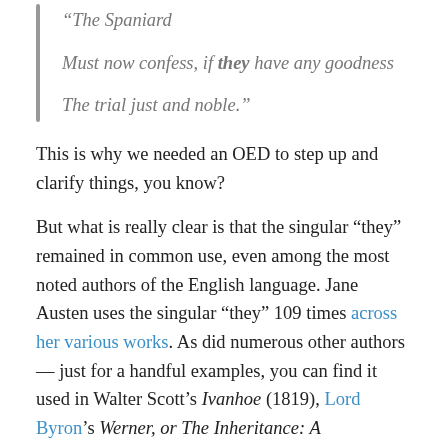“The Spaniard

Must now confess, if they have any goodness

The trial just and noble.”
This is why we needed an OED to step up and clarify things, you know?
But what is really clear is that the singular “they” remained in common use, even among the most noted authors of the English language. Jane Austen uses the singular “they” 109 times across her various works. As did numerous other authors — just for a handful examples, you can find it used in Walter Scott’s Ivanhoe (1819), Lord Byron’s Werner, or The Inheritance: A